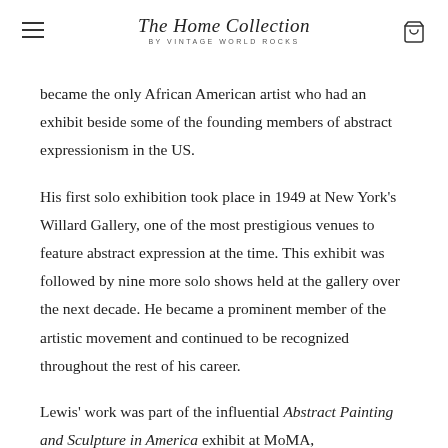The Home Collection BY VINTAGE WORLD ROCKS
became the only African American artist who had an exhibit beside some of the founding members of abstract expressionism in the US.
His first solo exhibition took place in 1949 at New York's Willard Gallery, one of the most prestigious venues to feature abstract expression at the time. This exhibit was followed by nine more solo shows held at the gallery over the next decade. He became a prominent member of the artistic movement and continued to be recognized throughout the rest of his career.
Lewis' work was part of the influential Abstract Painting and Sculpture in America exhibit at MoMA,